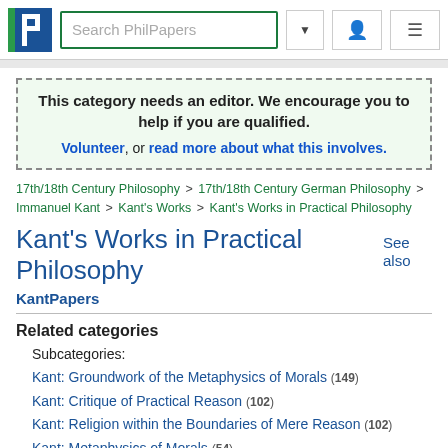[Figure (screenshot): PhilPapers website header with logo, search bar, dropdown arrow, user icon, and menu icon]
This category needs an editor. We encourage you to help if you are qualified. Volunteer, or read more about what this involves.
17th/18th Century Philosophy > 17th/18th Century German Philosophy > Immanuel Kant > Kant's Works > Kant's Works in Practical Philosophy
Kant's Works in Practical Philosophy  See also
KantPapers
Related categories
Subcategories:
Kant: Groundwork of the Metaphysics of Morals (149)
Kant: Critique of Practical Reason (102)
Kant: Religion within the Boundaries of Mere Reason (102)
Kant: Metaphysics of Morals (54)
Kant's Works in Practical Philosophy, Misc (157)